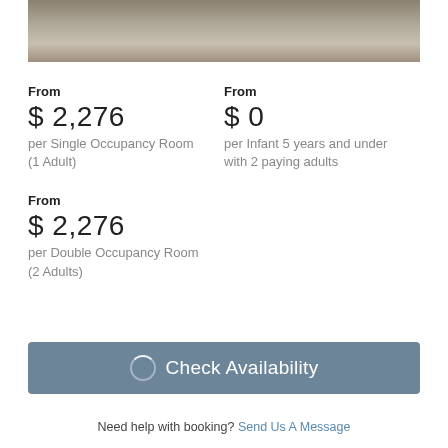[Figure (photo): Partial photo of a child with red shoes near a bicycle wheel on gravel ground]
From
$ 2,276
per Single Occupancy Room (1 Adult)
From
$ 0
per Infant 5 years and under with 2 paying adults
From
$ 2,276
per Double Occupancy Room (2 Adults)
Check Availability
Need help with booking? Send Us A Message